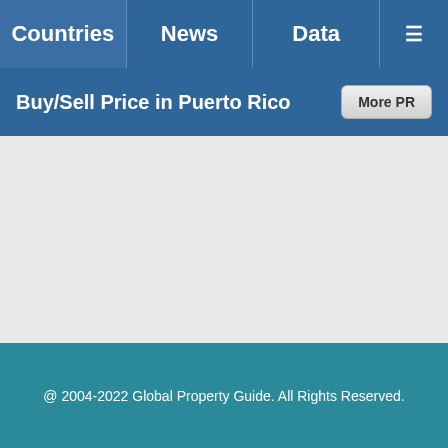Countries | News | Data | ☰
Buy/Sell Price in Puerto Rico
@ 2004-2022 Global Property Guide. All Rights Reserved.